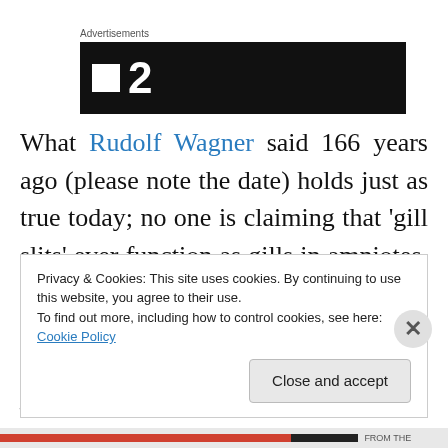[Figure (other): Advertisement banner with black background, white square icon and large white number '2']
What Rudolf Wagner said 166 years ago (please note the date) holds just as true today; no one is claiming that 'gill slits' ever function as gills in amniotes. That creationists continually harp on this is simple straw man bashing as no scientist, that I am aware of, save one—and I will discuss
Privacy & Cookies: This site uses cookies. By continuing to use this website, you agree to their use.
To find out more, including how to control cookies, see here: Cookie Policy
Close and accept